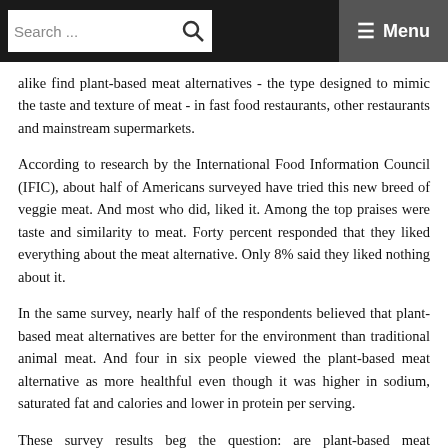Search ... ☰ Menu
alike find plant-based meat alternatives - the type designed to mimic the taste and texture of meat - in fast food restaurants, other restaurants and mainstream supermarkets.
According to research by the International Food Information Council (IFIC), about half of Americans surveyed have tried this new breed of veggie meat. And most who did, liked it. Among the top praises were taste and similarity to meat. Forty percent responded that they liked everything about the meat alternative. Only 8% said they liked nothing about it.
In the same survey, nearly half of the respondents believed that plant-based meat alternatives are better for the environment than traditional animal meat. And four in six people viewed the plant-based meat alternative as more healthful even though it was higher in sodium, saturated fat and calories and lower in protein per serving.
These survey results beg the question: are plant-based meat alternatives